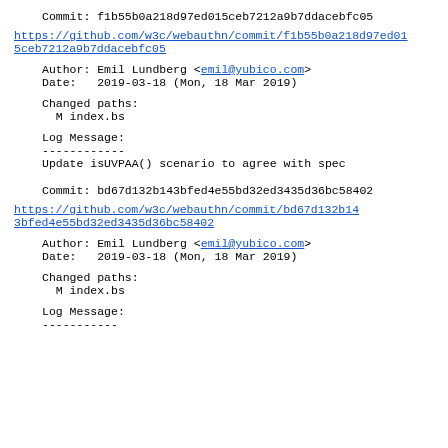Commit: f1b55b0a218d97ed015ceb7212a9b7ddacebfc05
https://github.com/w3c/webauthn/commit/f1b55b0a218d97ed015ceb7212a9b7ddacebfc05
Author: Emil Lundberg <emil@yubico.com>
Date:   2019-03-18 (Mon, 18 Mar 2019)
Changed paths:
  M index.bs
Log Message:
------------
Update isUVPAA() scenario to agree with spec
Commit: bd67d132b143bfed4e55bd32ed3435d36bc58402
https://github.com/w3c/webauthn/commit/bd67d132b143bfed4e55bd32ed3435d36bc58402
Author: Emil Lundberg <emil@yubico.com>
Date:   2019-03-18 (Mon, 18 Mar 2019)
Changed paths:
  M index.bs
Log Message:
-----------